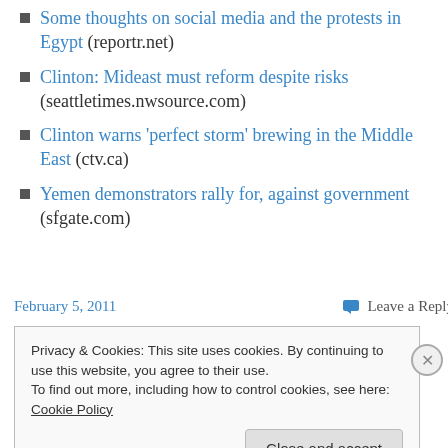Some thoughts on social media and the protests in Egypt (reportr.net)
Clinton: Mideast must reform despite risks (seattletimes.nwsource.com)
Clinton warns 'perfect storm' brewing in the Middle East (ctv.ca)
Yemen demonstrators rally for, against government (sfgate.com)
February 5, 2011
Leave a Reply
Privacy & Cookies: This site uses cookies. By continuing to use this website, you agree to their use. To find out more, including how to control cookies, see here: Cookie Policy
Close and accept